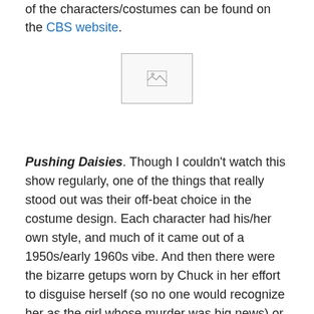of the characters/costumes can be found on the CBS website.
[Figure (photo): Broken/missing image placeholder]
Pushing Daisies. Though I couldn't watch this show regularly, one of the things that really stood out was their off-beat choice in the costume design. Each character had his/her own style, and much of it came out of a 1950s/early 1960s vibe. And then there were the bizarre getups worn by Chuck in her effort to disguise herself (so no one would recognize her as the girl whose murder was big news) or by the characters that they run into along the way as they're investigating the deaths that each episode